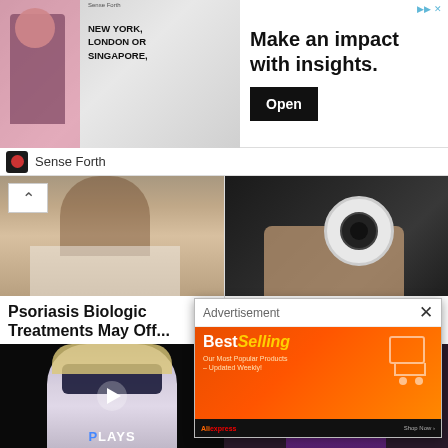[Figure (screenshot): Top advertisement banner: image of man at conference with text 'NEW YORK, LONDON OR SINGAPORE,' on left; large text 'Make an impact with insights.' in center; black 'Open' button on right; skip icon top-right]
Sense Forth
[Figure (photo): Woman with hands on head, brown hair, white top]
[Figure (photo): Hand holding white security camera against dark background]
Psoriasis Biologic Treatments May Off...
Here Are 12 Of The C...
Psoriasis | Search Ads
G Most updated
[Figure (photo): White jeans and espadrille shoes on woman's feet]
[Figure (screenshot): AliExpress BestSelling orange advertisement: 'Best Selling - Our Most Popular Products - Updated Weekly!' with shopping cart illustration and AliExpress bar at bottom]
[Figure (screenshot): Advertisement popup overlay with header 'Advertisement' and X close button; orange BestSelling AliExpress ad body]
[Figure (screenshot): Bottom video strip: left side shows animated character with blue visor/mask; right side shows anime-style female character in purple; PLAYS label at bottom; X close button]